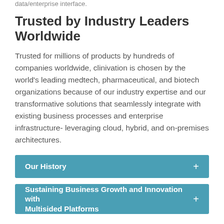data/enterprise interface.
Trusted by Industry Leaders Worldwide
Trusted for millions of products by hundreds of companies worldwide, clinivation is chosen by the world's leading medtech, pharmaceutical, and biotech organizations because of our industry expertise and our transformative solutions that seamlessly integrate with existing business processes and enterprise infrastructure- leveraging cloud, hybrid, and on-premises architectures.
Our History +
Sustaining Business Growth and Innovation with Multisided Platforms +